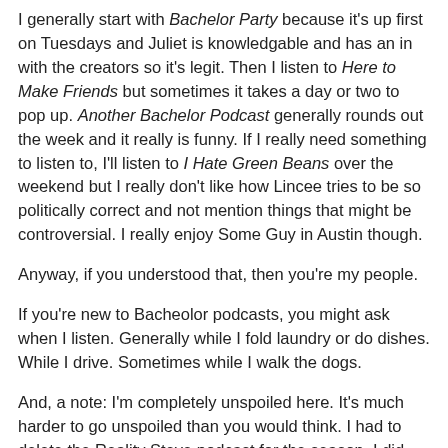I generally start with Bachelor Party because it's up first on Tuesdays and Juliet is knowledgable and has an in with the creators so it's legit. Then I listen to Here to Make Friends but sometimes it takes a day or two to pop up. Another Bachelor Podcast generally rounds out the week and it really is funny. If I really need something to listen to, I'll listen to I Hate Green Beans over the weekend but I really don't like how Lincee tries to be so politically correct and not mention things that might be controversial. I really enjoy Some Guy in Austin though.
Anyway, if you understood that, then you're my people.
If you're new to Bacheolor podcasts, you might ask when I listen. Generally while I fold laundry or do dishes. While I drive. Sometimes while I walk the dogs.
And, a note: I'm completely unspoiled here. It's much harder to go unspoiled than you would think. I had to delete the Reality Steve podcast for the season. I did see a comment that said RS changed his "winner" so maybe there's some drama there.